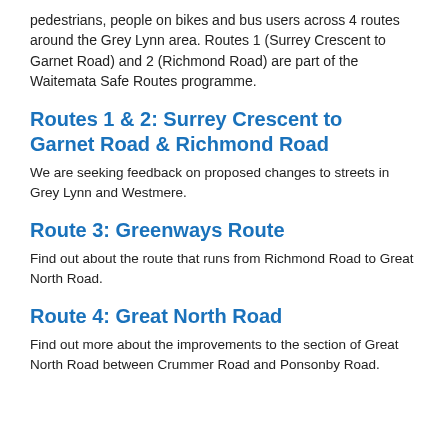pedestrians, people on bikes and bus users across 4 routes around the Grey Lynn area. Routes 1 (Surrey Crescent to Garnet Road) and 2 (Richmond Road) are part of the Waitemata Safe Routes programme.
Routes 1 & 2: Surrey Crescent to Garnet Road & Richmond Road
We are seeking feedback on proposed changes to streets in Grey Lynn and Westmere.
Route 3: Greenways Route
Find out about the route that runs from Richmond Road to Great North Road.
Route 4: Great North Road
Find out more about the improvements to the section of Great North Road between Crummer Road and Ponsonby Road.